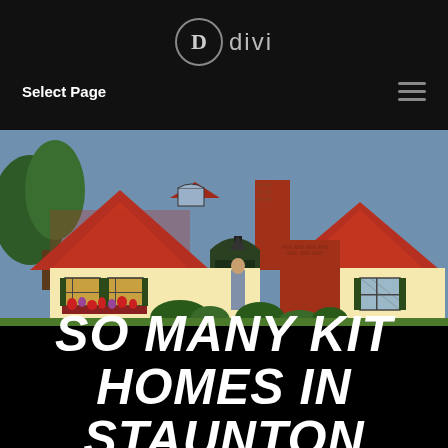D divi
Select Page
[Figure (illustration): Vintage illustration of a cottage-style kit home with red roof, brick chimney, green shutters, flower boxes, and a woman standing in the arched doorway, with trees in the background.]
SO MANY KIT HOMES IN STAUNTON